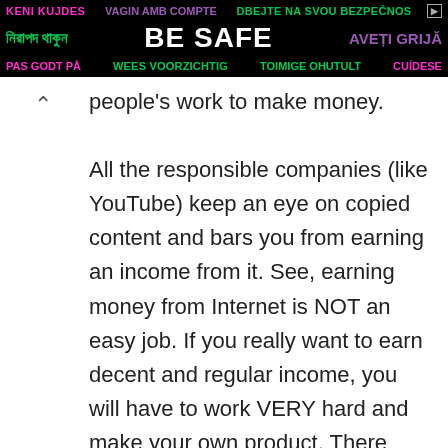[Figure (other): Multilingual 'BE SAFE' banner advertisement with text in multiple languages (Bengali, Catalan, Czech, Dutch, Estonian, Portuguese, Romanian, Swedish) on black background with colorful text]
people's work to make money. All the responsible companies (like YouTube) keep an eye on copied content and bars you from earning an income from it. See, earning money from Internet is NOT an easy job. If you really want to earn decent and regular income, you will have to work VERY hard and make your own product. There